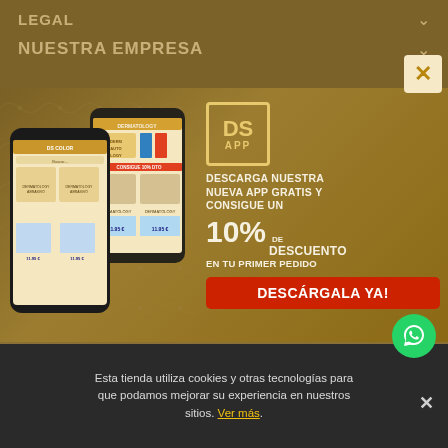LEGAL
NUESTRA EMPRESA
[Figure (screenshot): Smartphone mockup showing DS Color app interface with dermatology product listings]
DESCARGA NUESTRA NUEVA APP GRATIS Y CONSIGUE UN 10% DE DESCUENTO EN TU PRIMER PEDIDO
DESCÁRGALA YA!
Calle Escultores Hermanos Blanco, 1 - 03183 Torrevieja (Alicante)
+34 965 71 42 44 - info@ds-color.com
Esta tienda utiliza cookies y otras tecnologías para que podamos mejorar su experiencia en nuestros sitios. Ver más.